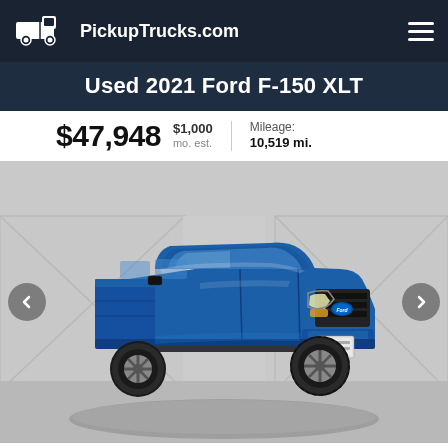PickupTrucks.com
Used 2021 Ford F-150 XLT
$47,948  $1,000 mo. est.  Mileage: 10,519 mi.
[Figure (photo): Blue 2021 Ford F-150 XLT pickup truck shown in a dealer showroom on a rotating platform, viewed from front-left 3/4 angle. White interior walls with X-bracing visible in background.]